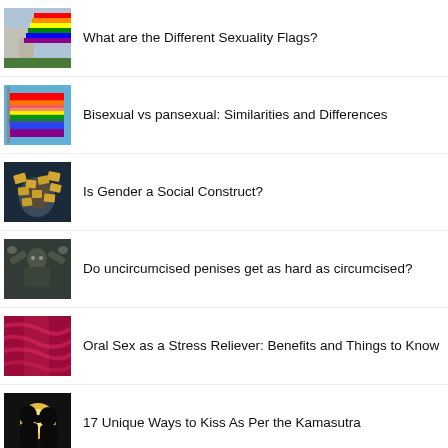What are the Different Sexuality Flags?
Bisexual vs pansexual: Similarities and Differences
Is Gender a Social Construct?
Do uncircumcised penises get as hard as circumcised?
Oral Sex as a Stress Reliever: Benefits and Things to Know
17 Unique Ways to Kiss As Per the Kamasutra